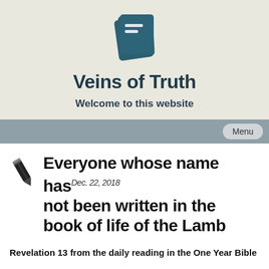[Figure (logo): Dark teal book icon with two horizontal lines on the cover, tilted slightly, representing a notebook or Bible]
Veins of Truth
Welcome to this website
Menu
[Figure (illustration): Small pencil/pen icon in dark color]
Everyone whose name has not been written in the book of life of the Lamb
Dec. 22, 2018
Revelation 13 from the daily reading in the One Year Bible